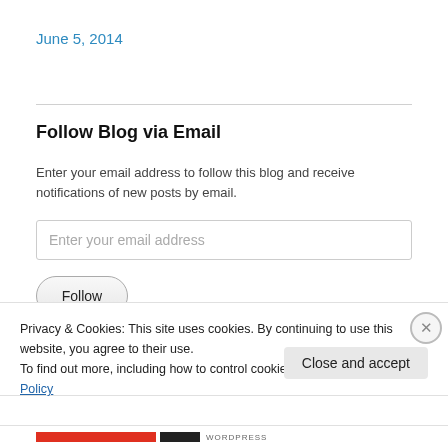June 5, 2014
Follow Blog via Email
Enter your email address to follow this blog and receive notifications of new posts by email.
Enter your email address
Follow
Privacy & Cookies: This site uses cookies. By continuing to use this website, you agree to their use.
To find out more, including how to control cookies, see here: Cookie Policy
Close and accept